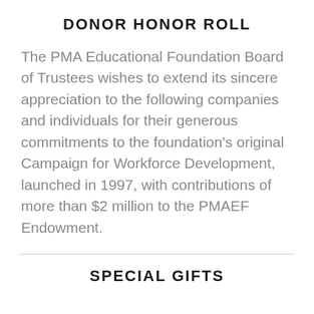DONOR HONOR ROLL
The PMA Educational Foundation Board of Trustees wishes to extend its sincere appreciation to the following companies and individuals for their generous commitments to the foundation’s original Campaign for Workforce Development, launched in 1997, with contributions of more than $2 million to the PMAEF Endowment.
SPECIAL GIFTS